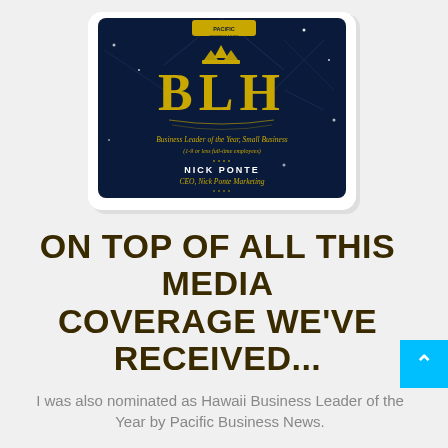[Figure (illustration): A framed award certificate/plaque displayed on a tablet-like surface with dark navy blue background and gold text reading 'BLH' in large letters. Subtitle: 'Business Leader of the Year, Small Business (1-9 or less full-time employees)'. Name: 'NICK PONTE, CEO, Nick Ponte Marketing'. Pacific Business News logo at top.]
ON TOP OF ALL THIS MEDIA COVERAGE WE'VE RECEIVED...
I was also nominated as Hawaii Business Leader of the Year by Pacific Business News.